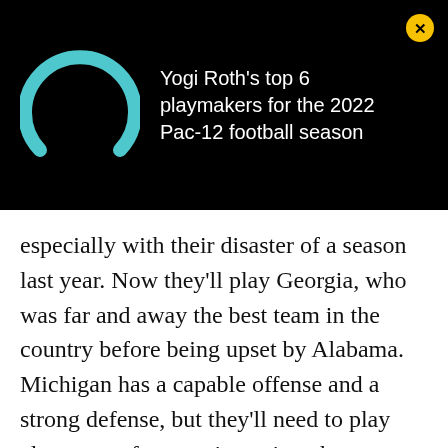[Figure (logo): Teal/cyan semicircle arc logo on black background]
Yogi Roth's top 6 playmakers for the 2022 Pac-12 football season
especially with their disaster of a season last year. Now they'll play Georgia, who was far and away the best team in the country before being upset by Alabama. Michigan has a capable offense and a strong defense, but they'll need to play close to perfect to win against the more talented Bulldogs.
Michigan's offensive line won the Joe Moore Award for the best offensive line in the country, and the numbers back it up for the most part. The Wolverines have been excellent in pass protection, ranking second nationally in sack rate according